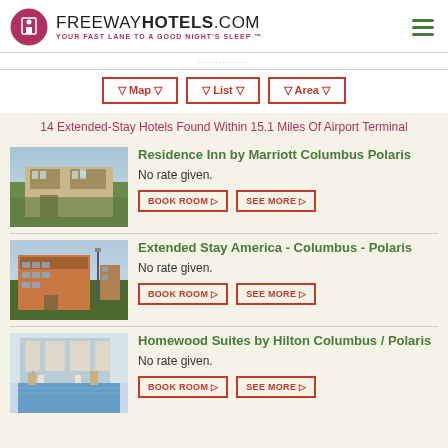FREEWAYHOTELS.COM YOUR FAST LANE TO A GOOD NIGHT'S SLEEP™
▽ Map ▽  ▽ List ▽  ▽ Area ▽
14 Extended-Stay Hotels Found Within 15.1 Miles Of Airport Terminal
[Figure (photo): Exterior photo of Residence Inn by Marriott Columbus Polaris]
Residence Inn by Marriott Columbus Polaris
No rate given.
BOOK ROOM ▷  SEE MORE ▷
[Figure (photo): Exterior photo of Extended Stay America - Columbus - Polaris]
Extended Stay America - Columbus - Polaris
No rate given.
BOOK ROOM ▷  SEE MORE ▷
[Figure (photo): Indoor pool photo of Homewood Suites by Hilton Columbus / Polaris]
Homewood Suites by Hilton Columbus / Polaris
No rate given.
BOOK ROOM ▷  SEE MORE ▷